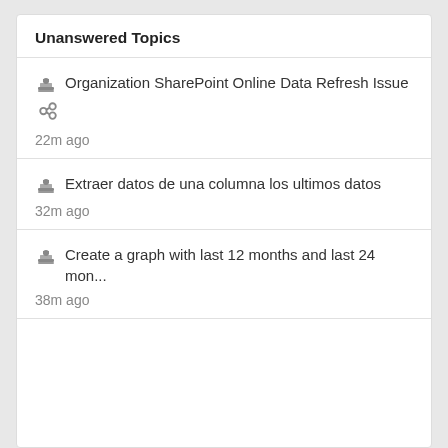Unanswered Topics
Organization SharePoint Online Data Refresh Issue
22m ago
Extraer datos de una columna los ultimos datos
32m ago
Create a graph with last 12 months and last 24 mon...
38m ago